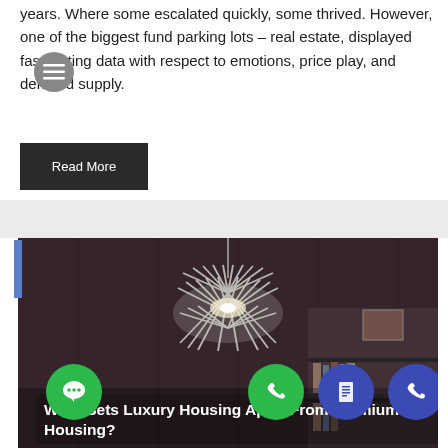years. Where some escalated quickly, some thrived. However, one of the biggest fund parking lots – real estate, displayed fascinating data with respect to emotions, price play, and demand supply.
[Figure (screenshot): Gray circular menu/hamburger button icon overlaid on text]
Read More
[Figure (photo): Interior room photo showing a decorative chrome chandelier with spiky metallic rods hanging from ceiling, dark wood walls and a bookshelf visible in background. Floating UI buttons visible: green chat bubble, green phone, blue document, blue phone.]
What Sets Luxury Housing Apart From Premium Housing?